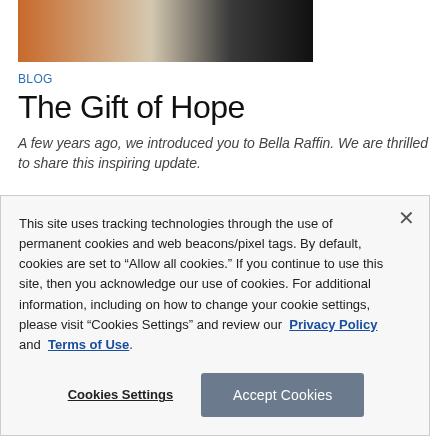[Figure (photo): Partial photo of people standing in front of an orange/brown background]
BLOG
The Gift of Hope
A few years ago, we introduced you to Bella Raffin. We are thrilled to share this inspiring update.
This site uses tracking technologies through the use of permanent cookies and web beacons/pixel tags. By default, cookies are set to “Allow all cookies.” If you continue to use this site, then you acknowledge our use of cookies. For additional information, including on how to change your cookie settings, please visit “Cookies Settings” and review our Privacy Policy and Terms of Use.